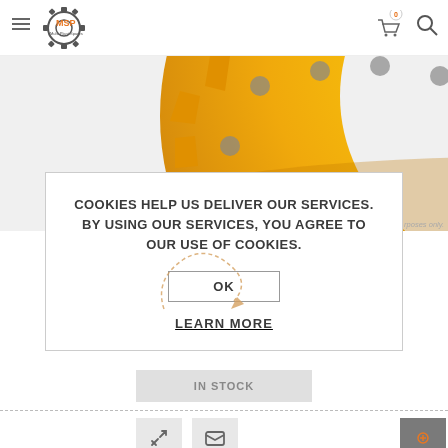MSP Multi-Plant Spares header with hamburger menu, logo, cart (0), and search icon
[Figure (photo): Yellow industrial gear/sprocket component photographed on white background, cropped top portion visible]
rposes only.
COOKIES HELP US DELIVER OUR SERVICES. BY USING OUR SERVICES, YOU AGREE TO OUR USE OF COOKIES.
OK
LEARN MORE
IN STOCK